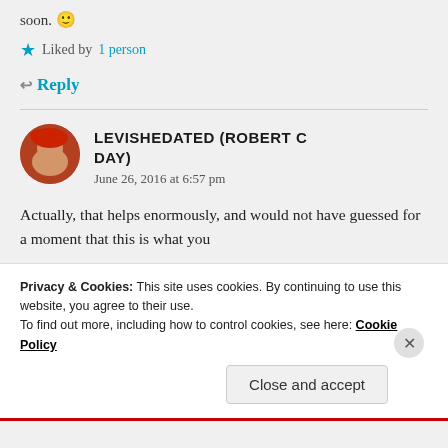soon. 🙂
★ Liked by 1 person
↩ Reply
LEVISHEDATED (ROBERT C DAY)
June 26, 2016 at 6:57 pm
Actually, that helps enormously, and would not have guessed for a moment that this is what you
Privacy & Cookies: This site uses cookies. By continuing to use this website, you agree to their use. To find out more, including how to control cookies, see here: Cookie Policy
Close and accept